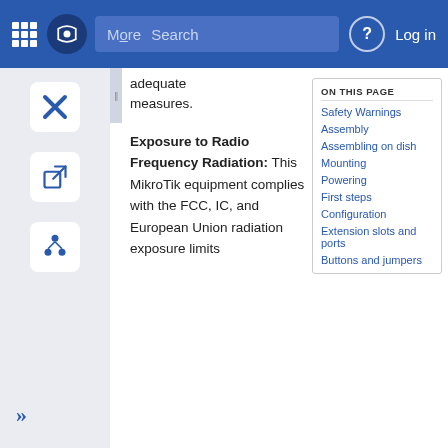MikroTik | More | Search | Log in
adequate measures.
ON THIS PAGE
Exposure to Radio Frequency Radiation: This MikroTik equipment complies with the FCC, IC, and European Union radiation exposure limits
Safety Warnings
Assembly
Assembling on dish
Mounting
Powering
First steps
Configuration
Extension slots and ports
Buttons and jumpers